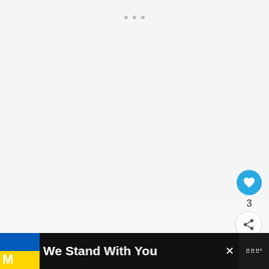[Figure (screenshot): Mostly blank/light gray content area with three small dots near top center, representing a loading or placeholder UI region]
[Figure (other): Blue circular like/heart button with heart icon and count of 3, plus a white circular share button below]
Can a dead car battery the key fob not to work?
[Figure (other): WHAT'S NEXT panel showing thumbnail image and text 'Can A Loose Battery...']
[Figure (other): Bottom advertisement bar: Ukrainian flag colors (blue and yellow), text 'We Stand With You', close X button, and media logo]